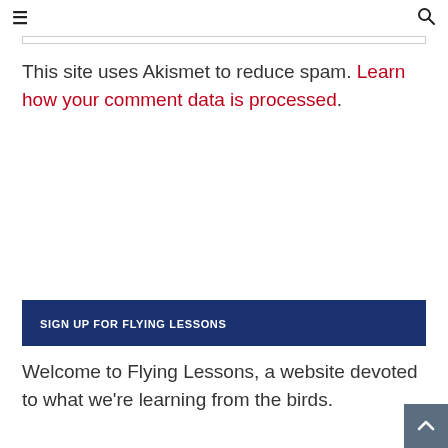≡  🔍
This site uses Akismet to reduce spam. Learn how your comment data is processed.
SIGN UP FOR FLYING LESSONS
Welcome to Flying Lessons, a website devoted to what we're learning from the birds.